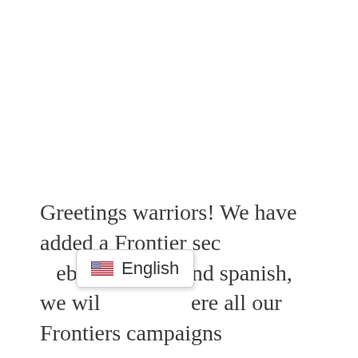Greetings warriors! We have added a Frontier sec[tion to our w]eb, in english and spanish, we wil[l gather th]ere all our Frontiers campaigns
[Figure (other): A language selector badge showing a US flag emoji and the text 'English', styled as a rounded white button with a border and subtle shadow]